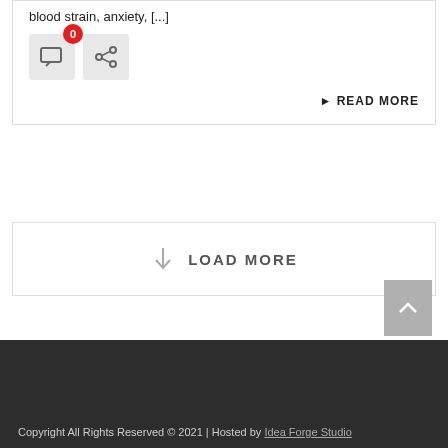blood strain,  anxiety, [...]
[Figure (screenshot): Comment icon button with red badge showing 0, and share icon button]
▶ READ MORE
↓  LOAD MORE
[Figure (other): Scroll to top button with upward chevron arrow]
Copyright All Rights Reserved © 2021 | Hosted by  Idea Forge Studio